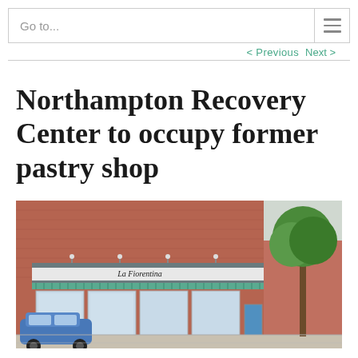Go to...
< Previous  Next >
Northampton Recovery Center to occupy former pastry shop
[Figure (photo): Exterior photo of a brick storefront building with a teal/gray awning reading 'La Fiorentina' and large display windows, with a blue car parked in front and trees visible to the right.]